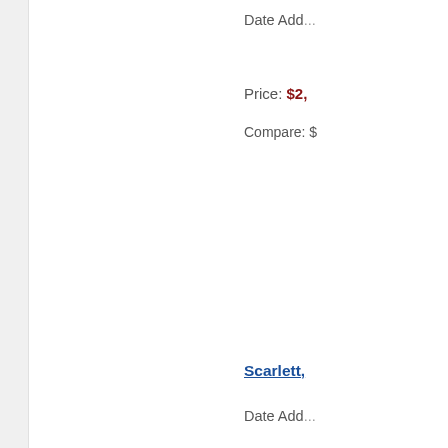Date Add...
Price: $2,...
Compare: $...
Scarlett,...
Date Add...
Price: $1,...
Compare: $...
[Figure (illustration): Partial circular product image placeholder on left side]
Madeline... Rectang...
Date Add...
Price: $1,...